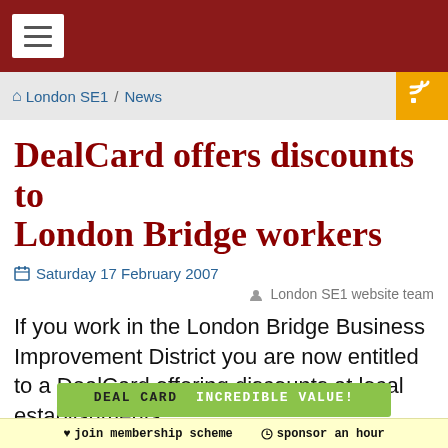≡ (hamburger menu)
🏠 London SE1 / News
DealCard offers discounts to London Bridge workers
Saturday 17 February 2007
London SE1 website team
If you work in the London Bridge Business Improvement District you are now entitled to a DealCard offering discounts at local establishments.
[Figure (other): Green banner partially visible at bottom of page reading 'DEAL CARD INCREDIBLE VALUE!']
♥ join membership scheme  🕐 sponsor an hour